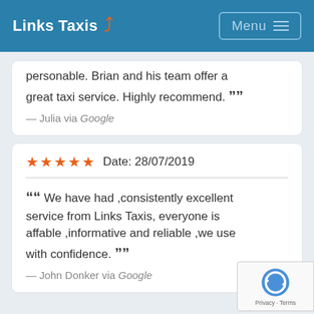Links Taxis | Menu
personable. Brian and his team offer a great taxi service. Highly recommend. ””
— Julia via Google
★★★★★ Date: 28/07/2019
““ We have had ,consistently excellent service from Links Taxis, everyone is affable ,informative and reliable ,we use with confidence. ””
— John Donker via Google